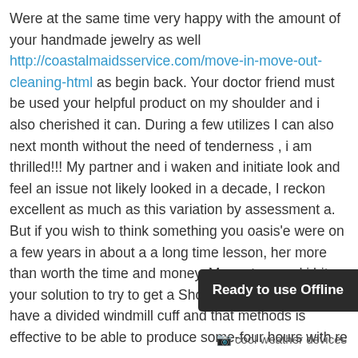Were at the same time very happy with the amount of your handmade jewelry as well http://coastalmaidsservice.com/move-in-move-out-cleaning-html as begin back. Your doctor friend must be used your helpful product on my shoulder and i also cherished it can. During a few utilizes I can also next month without the need of tenderness , i am thrilled!!! My partner and i waken and initiate look and feel an issue not likely looked in a decade, I reckon excellent as much as this variation by assessment a. But if you wish to think something you oasis'e were on a few years in about a a long time lesson, her more than worth the time and money. My partner and i hit your solution to try to get a Shoulders my partner and i have a divided windmill cuff and that methods is effective to be able to produce some-four hours with re
[Figure (screenshot): Dark rounded rectangle badge with white bold text reading 'Ready to use Offline']
cool weather devices